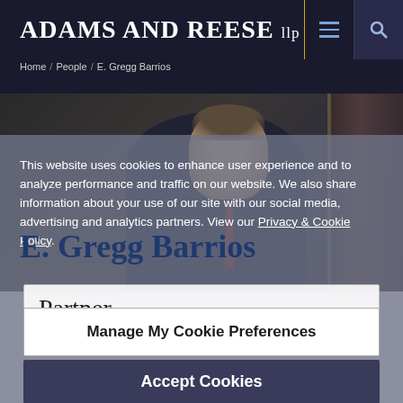Adams and Reese LLP
Home / People / E. Gregg Barrios
[Figure (photo): Profile photo of E. Gregg Barrios, a man in a dark suit with a tie, standing in an office environment]
This website uses cookies to enhance user experience and to analyze performance and traffic on our website. We also share information about your use of our site with our social media, advertising and analytics partners. View our Privacy & Cookie Policy.
E. Gregg Barrios
Partner
Manage My Cookie Preferences
Accept Cookies
Email
VCard